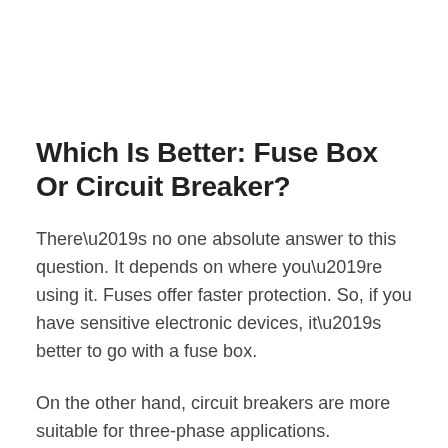Which Is Better: Fuse Box Or Circuit Breaker?
There’s no one absolute answer to this question. It depends on where you’re using it. Fuses offer faster protection. So, if you have sensitive electronic devices, it’s better to go with a fuse box.
On the other hand, circuit breakers are more suitable for three-phase applications. They’re more convenient since they don’t need to be replaced like a